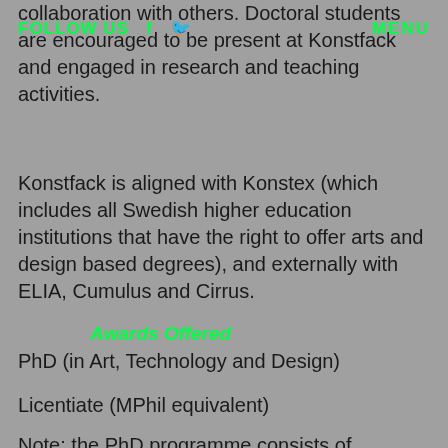FOLLOW US   f   [twitter]   MENU
collaboration with others. Doctoral students are encouraged to be present at Konstfack and engaged in research and teaching activities.
Konstfack is aligned with Konstex (which includes all Swedish higher education institutions that have the right to offer arts and design based degrees), and externally with ELIA, Cumulus and Cirrus.
Awards Offered
PhD (in Art, Technology and Design)
Licentiate (MPhil equivalent)
Note: the PhD programme consists of